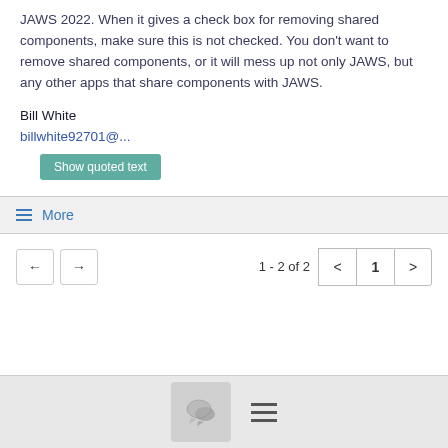JAWS 2022. When it gives a check box for removing shared components, make sure this is not checked. You don't want to remove shared components, or it will mess up not only JAWS, but any other apps that share components with JAWS.
Bill White
billwhite92701@...
Show quoted text
≡ More
1 - 2 of 2  < 1 >